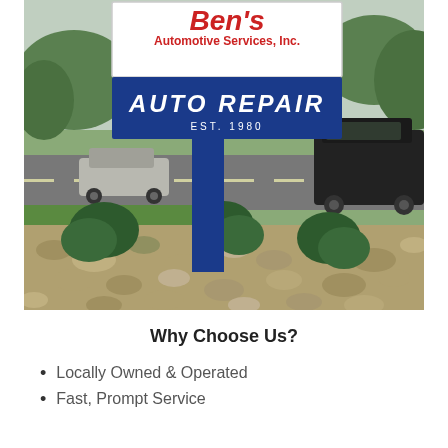[Figure (photo): Outdoor photo of Ben's Automotive Services, Inc. sign on a blue pole. The sign has a white top section with red italic text reading 'Ben's Automotive Services, Inc.' and a blue bottom section with white bold italic text reading 'AUTO REPAIR EST. 1980'. Rocky landscaping with shrubs surrounds the pole. A road is visible in the background with a silver car on the left and a black SUV on the right. Green trees and grass are visible in the background.]
Why Choose Us?
Locally Owned & Operated
Fast, Prompt Service